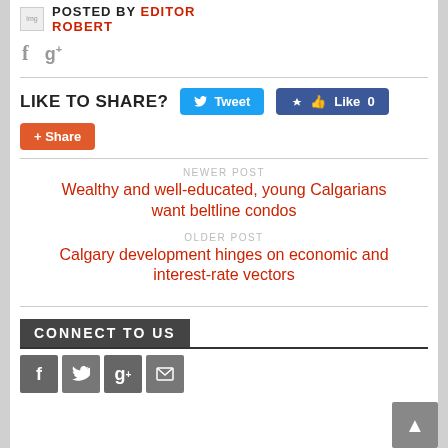POSTED BY EDITOR ROBERT
[Figure (infographic): Social share buttons: Tweet, Like 0, Share]
LIKE TO SHARE?
NEWER POST
Wealthy and well-educated, young Calgarians want beltline condos
OLDER POST
Calgary development hinges on economic and interest-rate vectors
CONNECT TO US
[Figure (infographic): Social media icons: Facebook, Twitter, Google+, Blogger]